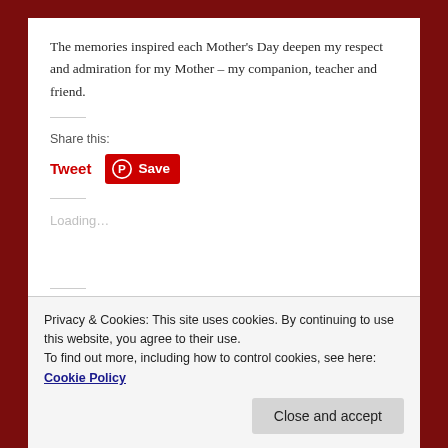The memories inspired each Mother's Day deepen my respect and admiration for my Mother – my companion, teacher and friend.
Share this:
[Figure (other): Tweet link in red bold text and Pinterest Save button with Pinterest logo on red background]
Loading…
Privacy & Cookies: This site uses cookies. By continuing to use this website, you agree to their use.
To find out more, including how to control cookies, see here: Cookie Policy
Close and accept